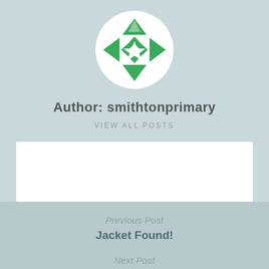[Figure (logo): Circular logo with green geometric snowflake/star pattern on white background]
Author: smithtonprimary
VIEW ALL POSTS
Previous Post
Jacket Found!
Next Post
Latest Health News